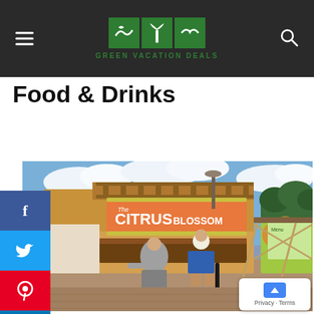Green Vacation Deals
Food & Drinks
[Figure (photo): Outdoor food kiosk called 'The Citrus Blossom' with two people standing at the counter ordering food, colorful citrus-themed decorations on the exterior, blue sky with clouds in background.]